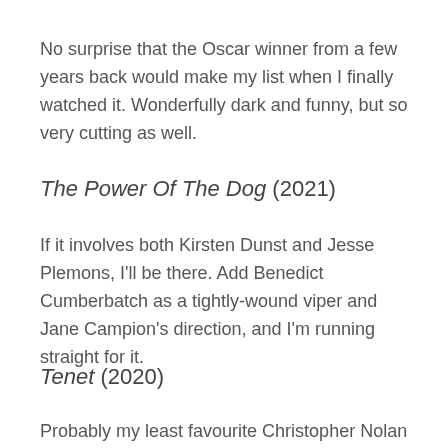No surprise that the Oscar winner from a few years back would make my list when I finally watched it. Wonderfully dark and funny, but so very cutting as well.
The Power Of The Dog (2021)
If it involves both Kirsten Dunst and Jesse Plemons, I'll be there. Add Benedict Cumberbatch as a tightly-wound viper and Jane Campion's direction, and I'm running straight for it.
Tenet (2020)
Probably my least favourite Christopher Nolan film,